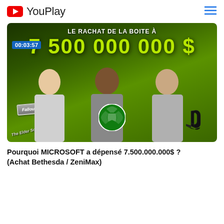YouPlay
[Figure (screenshot): Video thumbnail showing 'LE RACHAT DE LA BOITE À 7 500 000 000 $' with three people cutouts, Fallout 5 and The Elder Scrolls VI signs, Xbox and PlayStation logos on a green background. Timestamp 00:03:57 shown.]
Pourquoi MICROSOFT a dépensé 7.500.000.000$ ? (Achat Bethesda / ZeniMax)